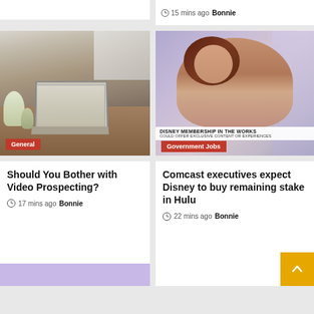15 mins ago  Bonnie
[Figure (photo): Person typing on a laptop at a wooden desk with plants and flowers in a café or home office setting. Badge reads 'General'.]
[Figure (photo): News broadcast screenshot of a woman presenter with on-screen text: 'DISNEY MEMBERSHIP IN THE WORKS / COULD OFFER EXCLUSIVE CONTENT OR EXPERIENCES'. Badge reads 'Government Jobs'.]
Should You Bother with Video Prospecting?
17 mins ago  Bonnie
Comcast executives expect Disney to buy remaining stake in Hulu
22 mins ago  Bonnie